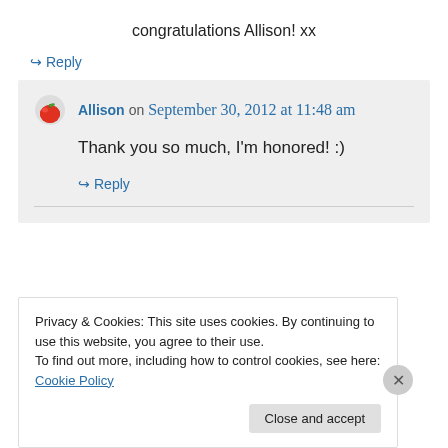congratulations Allison! xx
↪ Reply
Allison on September 30, 2012 at 11:48 am
Thank you so much, I'm honored! :)
↪ Reply
Privacy & Cookies: This site uses cookies. By continuing to use this website, you agree to their use.
To find out more, including how to control cookies, see here: Cookie Policy
Close and accept